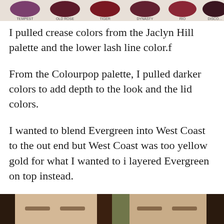[Figure (photo): Top strip showing makeup palette color swatches with labels including Tempest, Old Rose, Tiger, Dynasty, Rio, Discovery]
I pulled crease colors from the Jaclyn Hill palette and the lower lash line color.f
From the Colourpop palette, I pulled darker colors to add depth to the look and the lid colors.
I wanted to blend Evergreen into West Coast to the out end but West Coast was too yellow gold for what I wanted to i layered Evergreen on top instead.
<
[Figure (photo): Two side-by-side photos showing eye makeup on a person's face/forehead area]